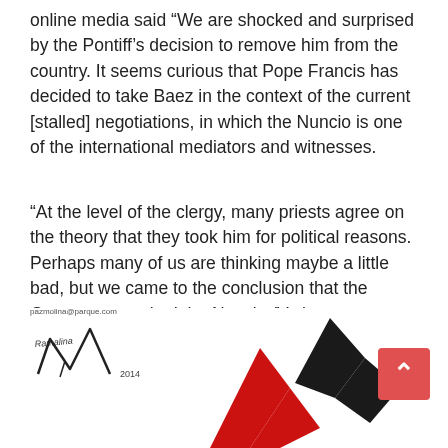online media said “We are shocked and surprised by the Pontiff’s decision to remove him from the country. It seems curious that Pope Francis has decided to take Baez in the context of the current [stalled] negotiations, in which the Nuncio is one of the international mediators and witnesses.
“At the level of the clergy, many priests agree on the theory that they took him for political reasons. Perhaps many of us are thinking maybe a little bad, but we came to the conclusion that the Government asked the Nuncio (Vatican representative) for that. We haven’t found another way to understand it,” said a member of the clergy who is close to the Episcopal Conference.
[Figure (logo): Newspaper logo with a stylized red and black graphic mark (zigzag/lightning bolt shapes in red and black) alongside a handwritten signature and website URL www.pazmolina.com / pazmolina@parque.com]